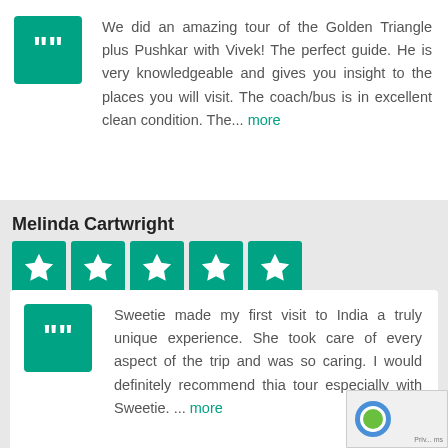We did an amazing tour of the Golden Triangle plus Pushkar with Vivek! The perfect guide. He is very knowledgeable and gives you insight to the places you will visit. The coach/bus is in excellent clean condition. The... more
Melinda Cartwright
[Figure (other): Five green star rating boxes (Trustpilot-style stars)]
Sweetie made my first visit to India a truly unique experience. She took care of every aspect of the trip and was so caring. I would definitely recommend thia tour especially with Sweetie. ... more